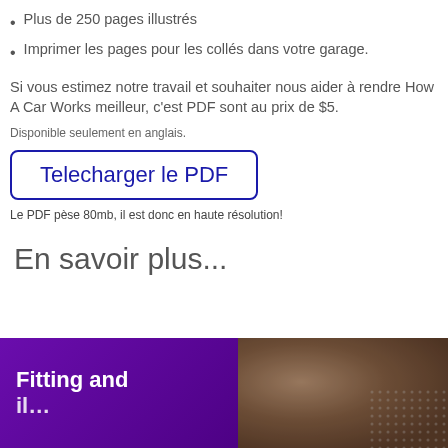Plus de 250 pages illustrés
Imprimer les pages pour les collés dans votre garage.
Si vous estimez notre travail et souhaiter nous aider à rendre How A Car Works meilleur, c'est PDF sont au prix de $5.
Disponible seulement en anglais.
Telecharger le PDF
Le PDF pèse 80mb, il est donc en haute résolution!
En savoir plus...
[Figure (illustration): Purple banner with 'Fitting and' text in white bold font on left, and a brownish engine/mechanical part photo on the right]